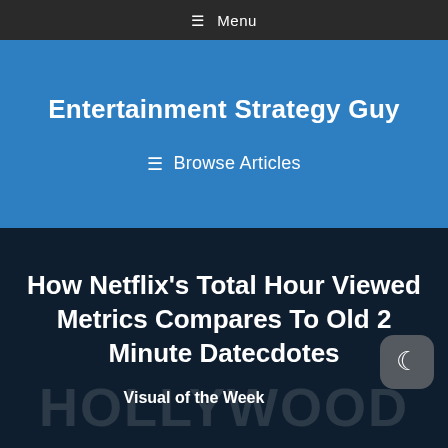☰ Menu
Entertainment Strategy Guy
☰ Browse Articles
How Netflix's Total Hour Viewed Metrics Compares To Old 2 Minute Datecdotes
Visual of the Week